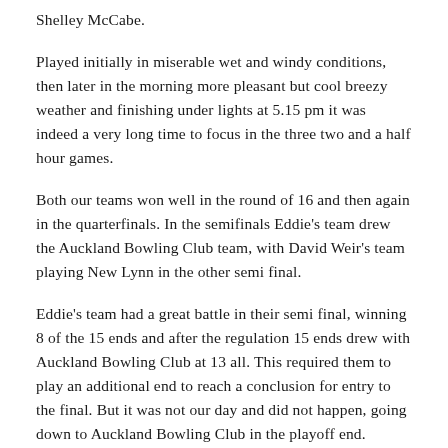Shelley McCabe.
Played initially in miserable wet and windy conditions, then later in the morning more pleasant but cool breezy weather and finishing under lights at 5.15 pm it was indeed a very long time to focus in the three two and a half hour games.
Both our teams won well in the round of 16 and then again in the quarterfinals. In the semifinals Eddie's team drew the Auckland Bowling Club team, with David Weir's team playing New Lynn in the other semi final.
Eddie's team had a great battle in their semi final, winning 8 of the 15 ends and after the regulation 15 ends drew with Auckland Bowling Club at 13 all. This required them to play an additional end to reach a conclusion for entry to the final. But it was not our day and did not happen, going down to Auckland Bowling Club in the playoff end.
David Weir's team started well and continued with